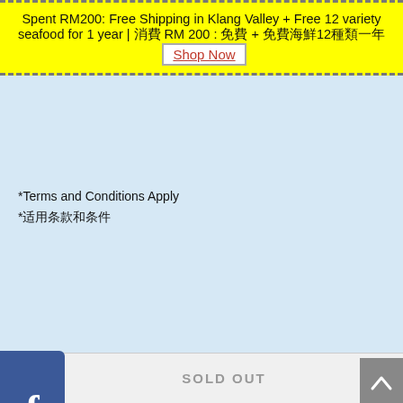Spent RM200: Free Shipping in Klang Valley + Free 12 variety seafood for 1 year | 消費 RM 200 : 免費 + 免費海鮮12種類一年 Shop Now
*Terms and Conditions Apply
*适用条款和条件
You may also like
[Figure (other): Facebook share icon button (dark blue square with white 'f' logo)]
[Figure (other): SALE badge on product card]
[Figure (other): SALE badge on second product card]
[Figure (other): Scroll to top button (grey, upward caret)]
HOME
SOLD OUT